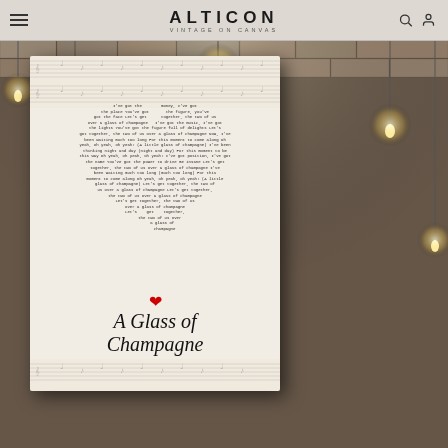ALTICON VINTAGE ON CANVAS
[Figure (photo): Product photo of a vintage-style canvas print featuring heart-shaped song lyrics from 'A Glass of Champagne' against a sheet music background, with cursive title text and a red heart symbol, displayed against a rustic brick wall with Edison bulb lighting.]